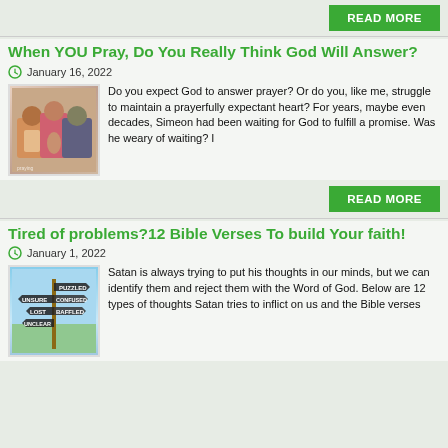[Figure (other): READ MORE button (green)]
When YOU Pray, Do You Really Think God Will Answer?
January 16, 2022
[Figure (photo): Collage of people praying]
Do you expect God to answer prayer? Or do you, like me, struggle to maintain a prayerfully expectant heart? For years, maybe even decades, Simeon had been waiting for God to fulfill a promise. Was he weary of waiting? I
[Figure (other): READ MORE button (green)]
Tired of problems?12 Bible Verses To build Your faith!
January 1, 2022
[Figure (photo): Signpost with words: PUZZLED, UNSURE, CONFUSED, LOST, BAFFLED, UNCLEAR]
Satan is always trying to put his thoughts in our minds, but we can identify them and reject them with the Word of God. Below are 12 types of thoughts Satan tries to inflict on us and the Bible verses